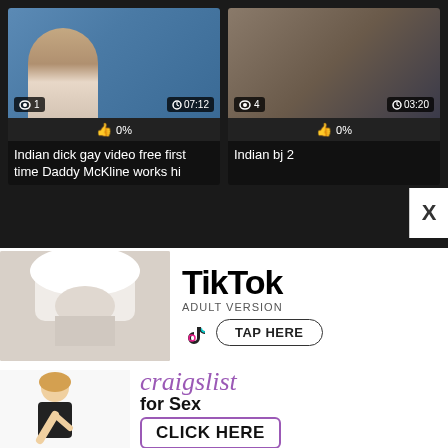[Figure (screenshot): Video thumbnail: man against blue background, view count 1, duration 07:12, 0% likes]
Indian dick gay video free first time Daddy McKline works hi
[Figure (screenshot): Video thumbnail: dark scene, view count 4, duration 03:20, 0% likes]
Indian bj 2
[Figure (infographic): TikTok Adult Version advertisement with tap here button]
[Figure (infographic): Craigslist for Sex advertisement with click here button]